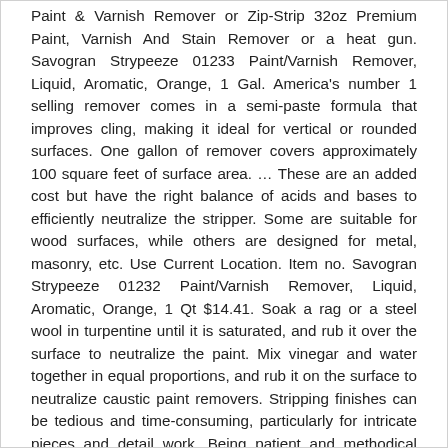Paint & Varnish Remover or Zip-Strip 32oz Premium Paint, Varnish And Stain Remover or a heat gun. Savogran Strypeeze 01233 Paint/Varnish Remover, Liquid, Aromatic, Orange, 1 Gal. America's number 1 selling remover comes in a semi-paste formula that improves cling, making it ideal for vertical or rounded surfaces. One gallon of remover covers approximately 100 square feet of surface area. … These are an added cost but have the right balance of acids and bases to efficiently neutralize the stripper. Some are suitable for wood surfaces, while others are designed for metal, masonry, etc. Use Current Location. Item no. Savogran Strypeeze 01232 Paint/Varnish Remover, Liquid, Aromatic, Orange, 1 Qt $14.41. Soak a rag or a steel wool in turpentine until it is saturated, and rub it over the surface to neutralize the paint. Mix vinegar and water together in equal proportions, and rub it on the surface to neutralize caustic paint removers. Stripping finishes can be tedious and time-consuming, particularly for intricate pieces and detail work. Being patient and methodical pays off. Free shipping for many products! Strypeeze® is recommended for outdoor use.